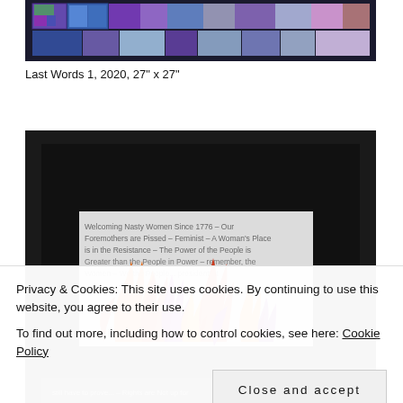[Figure (photo): Top portion of a colorful patchwork quilt with purple, blue, and multicolored fabric pieces arranged in geometric blocks, set against black border.]
Last Words 1, 2020, 27" x 27"
[Figure (photo): A quilt artwork on black background featuring orange, red, and purple flame-like fabric shapes in front of a white panel with text reading feminist and women's empowerment slogans: 'Welcoming Nasty Women Since 1776 – Our Foremothers are Pissed – Feminist – A Woman's Place is in the Resistance – The Power of the People is Greater than the People in Power – Remember, the Women – We the People... president' It...]
Privacy & Cookies: This site uses cookies. By continuing to use this website, you agree to their use.
To find out more, including how to control cookies, see here: Cookie Policy
Close and accept
[Figure (photo): Bottom strip of another quilt artwork showing partial text 'still have to prove... – Rights are Not up for']